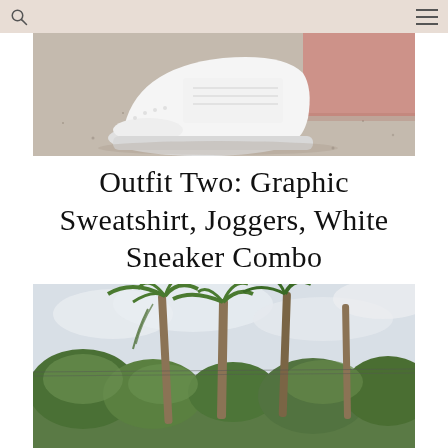[Figure (photo): Close-up photo of a white sneaker on sandy/gravelly ground next to a pink painted step or curb]
Outfit Two: Graphic Sweatshirt, Joggers, White Sneaker Combo
[Figure (photo): Outdoor photo looking up at tall palm trees against a cloudy sky, with green trees and power lines visible]